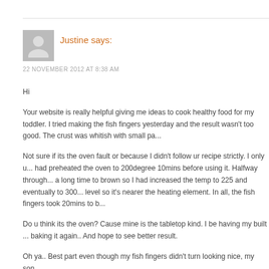Justine says:
22 NOVEMBER 2012 AT 8:38 AM
Hi
Your website is really helpful giving me ideas to cook healthy food for my toddler. I tried making the fish fingers yesterday and the result wasn't too good. The crust was whitish with small pa...
Not sure if its the oven fault or because I didn't follow ur recipe strictly. I only u... had preheated the oven to 200degree 10mins before using it. Halfway through... a long time to brown so I had increased the temp to 225 and eventually to 300... level so it's nearer the heating element. In all, the fish fingers took 20mins to b...
Do u think its the oven? Cause mine is the tabletop kind. I be having my built ... baking it again.. And hope to see better result.
Oh ya.. Best part even though my fish fingers didn't turn looking nice, my son...